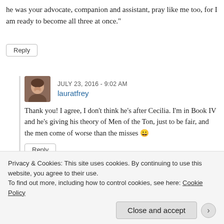he was your advocate, companion and assistant, pray like me too, for I am ready to become all three at once.”
Reply
JULY 23, 2016 - 9:02 AM
lauratfrey
Thank you! I agree, I don’t think he’s after Cecilia. I’m in Book IV and he’s giving his theory of Men of the Ton, just to be fair, and the men come of worse than the misses 😃
Reply
JULY 23, 2016 - 1:48 AM
Privacy & Cookies: This site uses cookies. By continuing to use this website, you agree to their use.
To find out more, including how to control cookies, see here: Cookie Policy
Close and accept